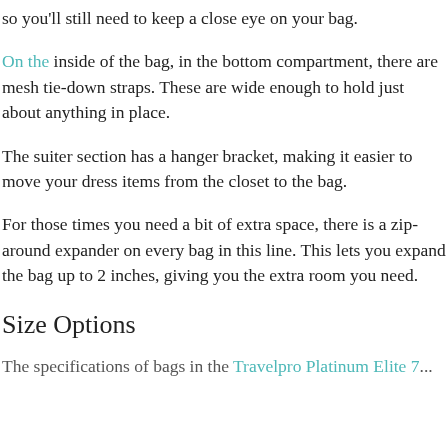so you'll still need to keep a close eye on your bag.
On the inside of the bag, in the bottom compartment, there are mesh tie-down straps. These are wide enough to hold just about anything in place.
The suiter section has a hanger bracket, making it easier to move your dress items from the closet to the bag.
For those times you need a bit of extra space, there is a zip-around expander on every bag in this line. This lets you expand the bag up to 2 inches, giving you the extra room you need.
Size Options
The specifications of bags in the Travelpro Platinum Elite 7...